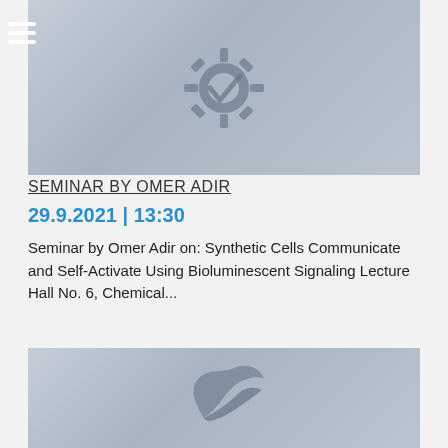[Figure (illustration): Header image with blurred background and a gear/cog with a checkmark logo in muted blue-grey tones]
SEMINAR BY OMER ADIR
29.9.2021 | 13:30
Seminar by Omer Adir on: Synthetic Cells Communicate and Self-Activate Using Bioluminescent Signaling Lecture Hall No. 6, Chemical...
[Figure (illustration): Footer image with blurred background and a running/wing figure logo in muted blue-grey tones]